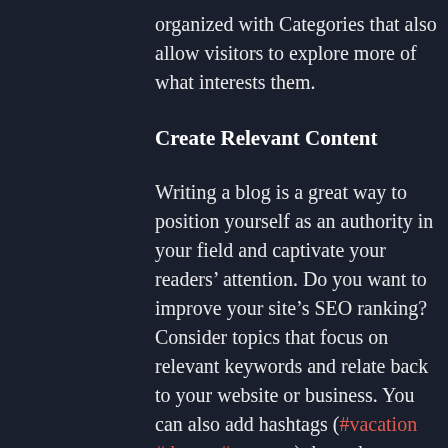organized with Categories that also allow visitors to explore more of what interests them.
Create Relevant Content
Writing a blog is a great way to position yourself as an authority in your field and captivate your readers’ attention. Do you want to improve your site’s SEO ranking? Consider topics that focus on relevant keywords and relate back to your website or business. You can also add hashtags (#vacation #dream #summer) throughout your posts to reach more people, and help visitors search for relevant content.
Blogging gives your site a voice, so let